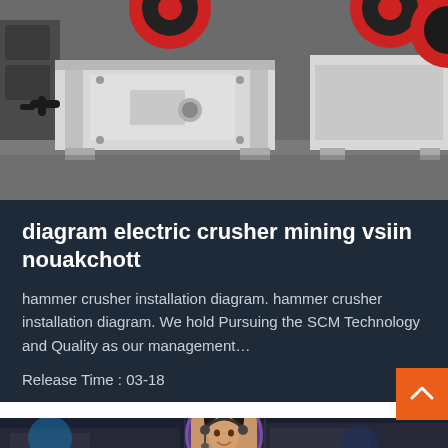[Figure (photo): Industrial jaw crusher machines in a factory/warehouse setting. White and grey heavy mining equipment with red circular flywheel visible at top.]
diagram electric crusher mining vsiin nouakchott
hammer crusher installation diagram. hammer crusher installation diagram. We hold Pursuing the SCM Technology and Quality as our management…
Release Time : 03-18
Leave Message
[Figure (photo): Customer support agent avatar with headset, circular photo in purple border]
Chat Online